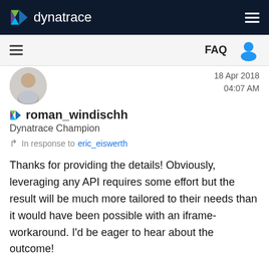dynatrace
FAQ
18 Apr 2018 04:07 AM
roman_windischh
Dynatrace Champion
In response to eric_eiswerth
Thanks for providing the details! Obviously, leveraging any API requires some effort but the result will be much more tailored to their needs than it would have been possible with an iframe-workaround. I'd be eager to hear about the outcome!